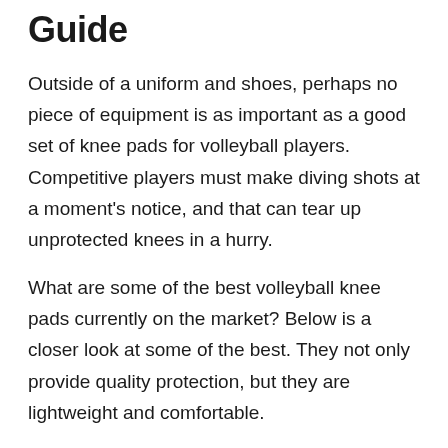Guide
Outside of a uniform and shoes, perhaps no piece of equipment is as important as a good set of knee pads for volleyball players. Competitive players must make diving shots at a moment's notice, and that can tear up unprotected knees in a hurry.
What are some of the best volleyball knee pads currently on the market? Below is a closer look at some of the best. They not only provide quality protection, but they are lightweight and comfortable.
Best Knee Pads for Volleyball –